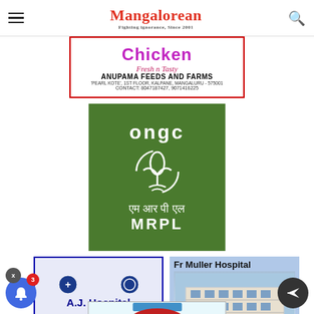Mangalorean
[Figure (logo): Anupama Feeds and Farms advertisement - Chicken Fresh n Tasty, PEARL KOTE, 1ST FLOOR, KALPANE, MANGALURU - 575001, CONTACT: 8047187427, 9071416225]
[Figure (logo): ONGC MRPL (Mangalore Refinery and Petrochemicals Limited) advertisement with green background and ONGC logo]
[Figure (logo): A.J. Hospital & Research Centre, Kuntikana, Mangalore advertisement]
[Figure (photo): Fr Muller Hospital advertisement with building photo]
[Figure (logo): Partial advertisement visible at bottom of page]